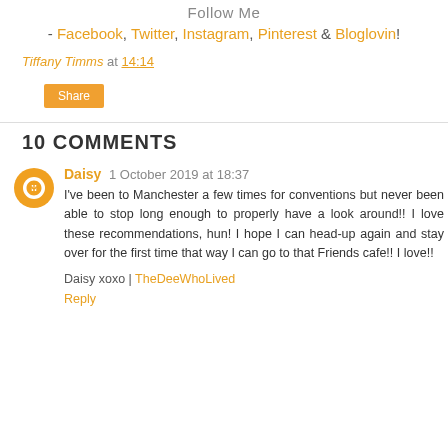Follow Me
- Facebook, Twitter, Instagram, Pinterest & Bloglovin!
Tiffany Timms at 14:14
Share
10 COMMENTS
Daisy 1 October 2019 at 18:37
I've been to Manchester a few times for conventions but never been able to stop long enough to properly have a look around!! I love these recommendations, hun! I hope I can head-up again and stay over for the first time that way I can go to that Friends cafe!! I love!!
Daisy xoxo | TheDeeWhoLived
Reply